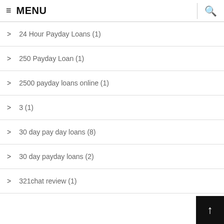≡ MENU
> 24 Hour Payday Loans (1)
> 250 Payday Loan (1)
> 2500 payday loans online (1)
> 3 (1)
> 30 day pay day loans (8)
> 30 day payday loans (2)
> 321chat review (1)